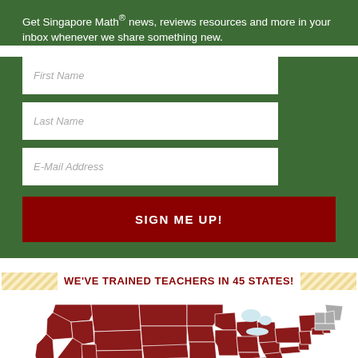Get Singapore Math® news, reviews resources and more in your inbox whenever we share something new.
First Name
Last Name
E-Mail Address
SIGN ME UP!
WE'VE TRAINED TEACHERS IN 45 STATES!
[Figure (map): Map of the United States showing states highlighted in dark red where teachers have been trained. Most states are red/dark red except a few in the northeast shown in grey.]